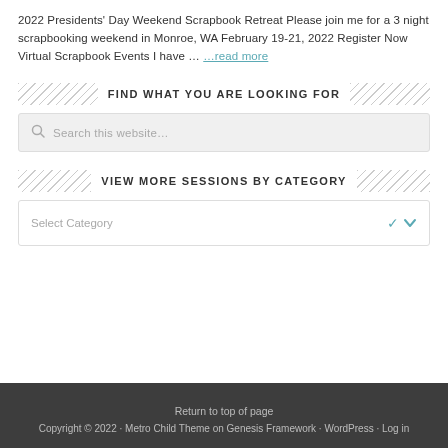2022 Presidents' Day Weekend Scrapbook Retreat Please join me for a 3 night scrapbooking weekend in Monroe, WA February 19-21, 2022 Register Now Virtual Scrapbook Events I have … …read more
FIND WHAT YOU ARE LOOKING FOR
[Figure (screenshot): Search box with placeholder text 'Search this website...']
VIEW MORE SESSIONS BY CATEGORY
[Figure (screenshot): Dropdown select box with placeholder 'Select Category' and a teal chevron arrow]
Return to top of page Copyright © 2022 · Metro Child Theme on Genesis Framework · WordPress · Log in